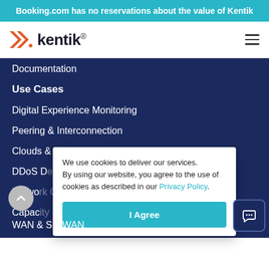Booking.com has no reservations about the value of Kentik
[Figure (logo): Kentik logo with orange double-chevron icon and dark text]
Documentation
Use Cases
Digital Experience Monitoring
Peering & Interconnection
Clouds & Hybrid
DDoS Detection & Network Security
Network Observability
Capacity Planning
WAN & SD-WAN
We use cookies to deliver our services. By using our website, you agree to the use of cookies as described in our Privacy Policy.